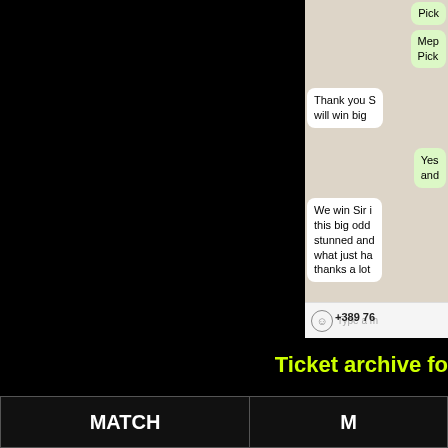[Figure (screenshot): WhatsApp chat conversation screenshot showing green and white message bubbles with partial text. Messages include 'Pick', 'Mep Pick', 'Thank you S will win big', 'Yes and', 'We win Sir i this big odd stunned and what just ha thanks a lot'. Input bar shows '+389 76' contact number and 'Type a m' placeholder.]
Ticket archive fo
| MATCH | M |
| --- | --- |